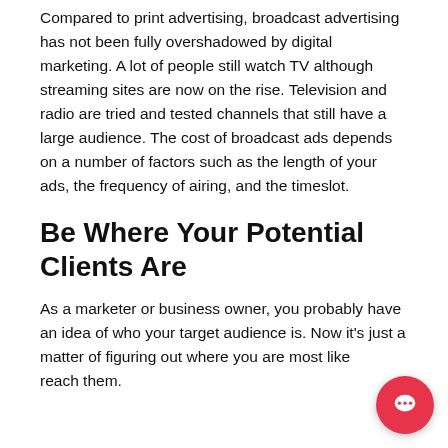Compared to print advertising, broadcast advertising has not been fully overshadowed by digital marketing. A lot of people still watch TV although streaming sites are now on the rise. Television and radio are tried and tested channels that still have a large audience. The cost of broadcast ads depends on a number of factors such as the length of your ads, the frequency of airing, and the timeslot.
Be Where Your Potential Clients Are
As a marketer or business owner, you probably have an idea of who your target audience is. Now it's just a matter of figuring out where you are most likely to reach them.